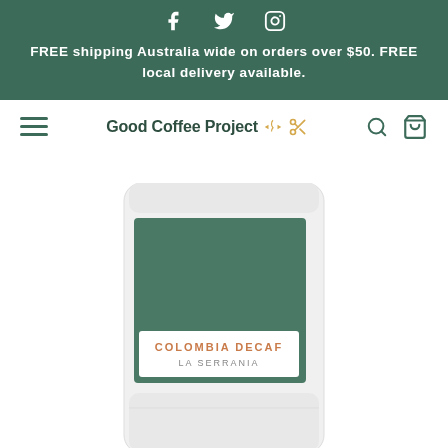FREE shipping Australia wide on orders over $50. FREE local delivery available.
Good Coffee Project ✂
[Figure (photo): Coffee bag product photo showing a white bag with a dark green label panel and a white label reading 'COLOMBIA DECAF LA SERRANIA']